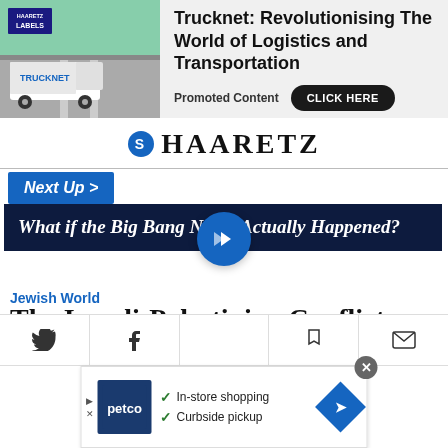[Figure (infographic): Trucknet advertisement banner with truck image on green highway background, Haaretz Labels badge, and 'Trucknet: Revolutionising The World of Logistics and Transportation' text with 'Promoted Content' label and 'CLICK HERE' button]
HAARETZ
Next Up >
What if the Big Bang Never Actually Happened?
Jewish World
The Israeli-Palestinian Conflict:
[Figure (infographic): Petco advertisement with logo, 'In-store shopping' and 'Curbside pickup' checkmarks, and navigation arrow diamond icon. Close X button visible. Bottom navigation bar with Twitter, Facebook, bookmark, and email icons, plus central blue navigation button.]